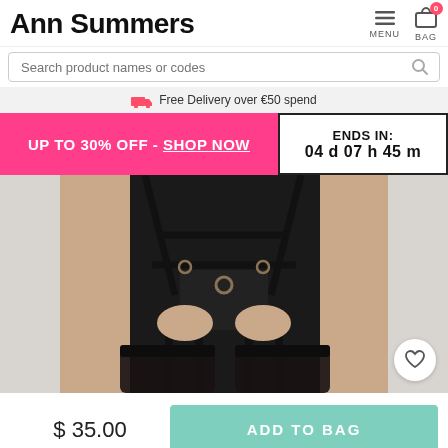Ann Summers
Search product names or codes
Free Delivery over €50 spend
UP TO 30% OFF - SHOP NOW
ENDS IN: 04 d 07 h 45 m
[Figure (photo): Model wearing black lingerie harness set with suspenders and lace stockings]
$ 35.00
ADD TO BAG